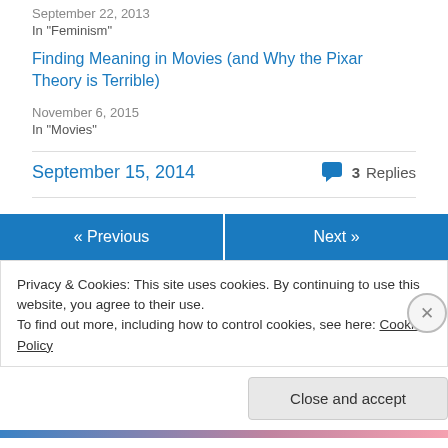September 22, 2013
In "Feminism"
Finding Meaning in Movies (and Why the Pixar Theory is Terrible)
November 6, 2015
In "Movies"
September 15, 2014
3 Replies
« Previous
Next »
Privacy & Cookies: This site uses cookies. By continuing to use this website, you agree to their use.
To find out more, including how to control cookies, see here: Cookie Policy
Close and accept